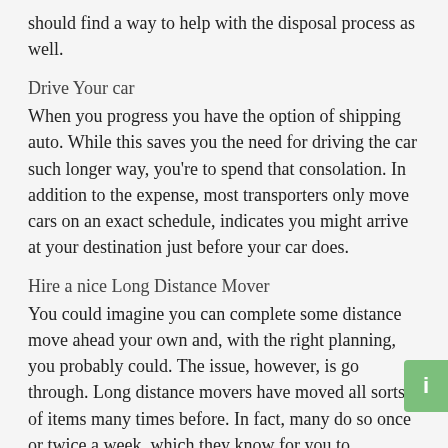should find a way to help with the disposal process as well.
Drive Your car
When you progress you have the option of shipping auto. While this saves you the need for driving the car such longer way, you're to spend that consolation. In addition to the expense, most transporters only move cars on an exact schedule, indicates you might arrive at your destination just before your car does.
Hire a nice Long Distance Mover
You could imagine you can complete some distance move ahead your own and, with the right planning, you probably could. The issue, however, is go through. Long distance movers have moved all sorts of items many times before. In fact, many do so once or twice a week, which they know for you to anticipate and might help you plan accordingly. Researching a long distance moving company is a much affordable than you might think, particularly when you a